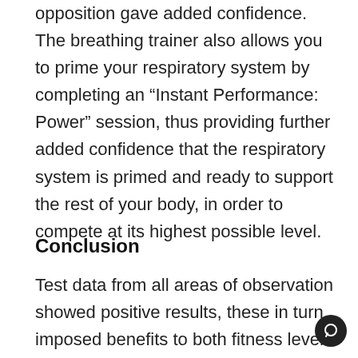opposition gave added confidence. The breathing trainer also allows you to prime your respiratory system by completing an “Instant Performance: Power” session, thus providing further added confidence that the respiratory system is primed and ready to support the rest of your body, in order to compete at its highest possible level.
Conclusion
Test data from all areas of observation showed positive results, these in turn imposed benefits to both fitness levels and an overall level of wellness.